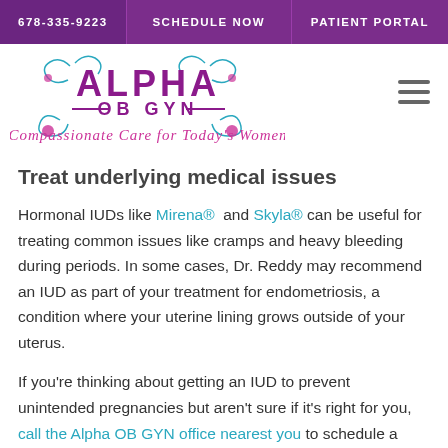678-335-9223   SCHEDULE NOW   PATIENT PORTAL
[Figure (logo): Alpha OB GYN logo with decorative floral swirls in teal and pink, text reads 'ALPHA OB GYN' in purple with tagline 'Compassionate Care for Today's Women' in pink italic]
Treat underlying medical issues
Hormonal IUDs like Mirena® and Skyla® can be useful for treating common issues like cramps and heavy bleeding during periods. In some cases, Dr. Reddy may recommend an IUD as part of your treatment for endometriosis, a condition where your uterine lining grows outside of your uterus.
If you're thinking about getting an IUD to prevent unintended pregnancies but aren't sure if it's right for you, call the Alpha OB GYN office nearest you to schedule a